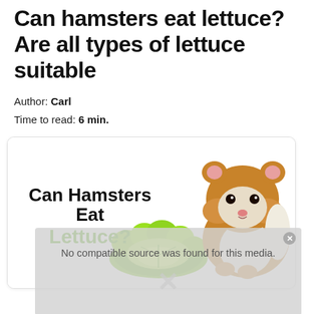Can hamsters eat lettuce? Are all types of lettuce suitable
Author: Carl
Time to read: 6 min.
[Figure (illustration): Illustration showing a hamster next to a head of lettuce with text 'Can Hamsters Eat Lettuce?' overlaid. The word 'Lettuce?' is in green, the rest in black.]
[Figure (screenshot): A grayed-out media player overlay showing the message 'No compatible source was found for this media.' with a close button and a large X symbol at the bottom.]